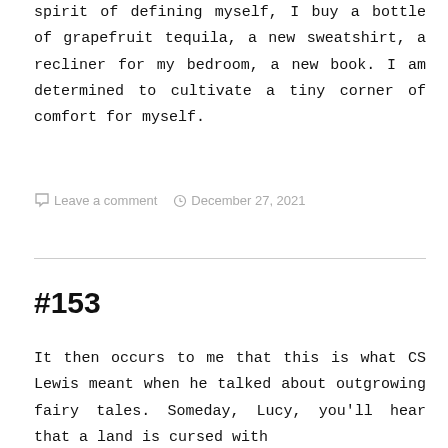spirit of defining myself, I buy a bottle of grapefruit tequila, a new sweatshirt, a recliner for my bedroom, a new book. I am determined to cultivate a tiny corner of comfort for myself.
Leave a comment   December 27, 2021
#153
It then occurs to me that this is what CS Lewis meant when he talked about outgrowing fairy tales. Someday, Lucy, you'll hear that a land is cursed with